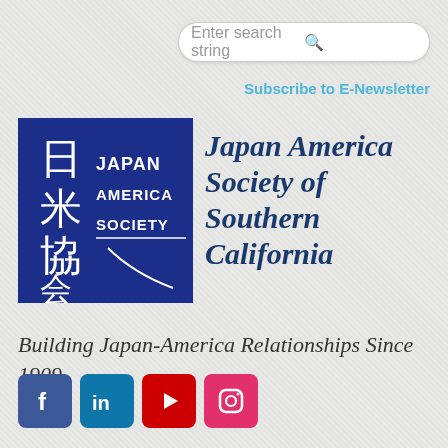Enter search string
Subscribe to E-Newsletter
[Figure (logo): Japan America Society logo: dark blue square with Japanese kanji characters 日米協会 on the left and 'Japan America Society' text on the right with a brushstroke underline]
Japan America Society of Southern California
Building Japan-America Relationships Since 1909
[Figure (infographic): Social media icons row: Facebook (blue), LinkedIn (blue), YouTube (red), Instagram (gradient/red)]